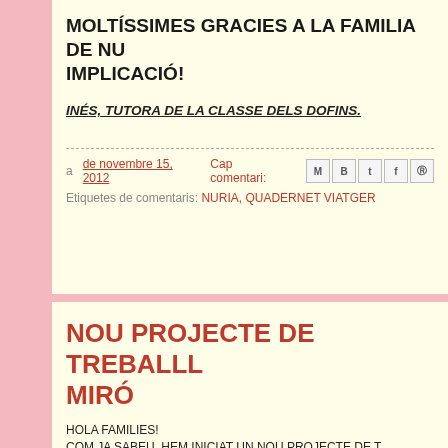MOLTÍSSIMES GRACIES A LA FAMILIA DE NU IMPLICACIÓ!
INÉS, TUTORA DE LA CLASSE DELS DOFINS.
a de novembre 15, 2012   Cap comentari:
Etiquetes de comentaris: NURIA, QUADERNET VIATGER
NOU PROJECTE DE TREBALLL MIRÓ
HOLA FAMILIES!
COM JA SABEU, HEM INICIAT UN NOU PROJECTE DE T RELACIONAT AMB EL PINTOR I ESCULTOR JOAN MIRÓ. A